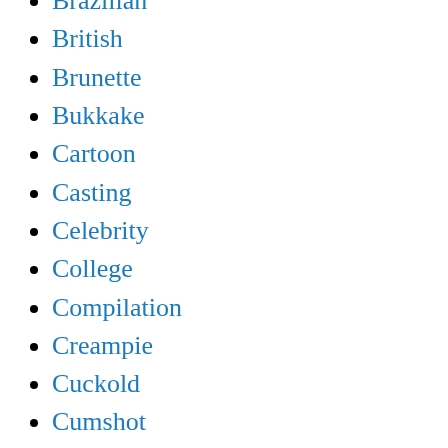Brazilian
British
Brunette
Bukkake
Cartoon
Casting
Celebrity
College
Compilation
Creampie
Cuckold
Cumshot
Czech
Double Penetration
Ebony
Euro